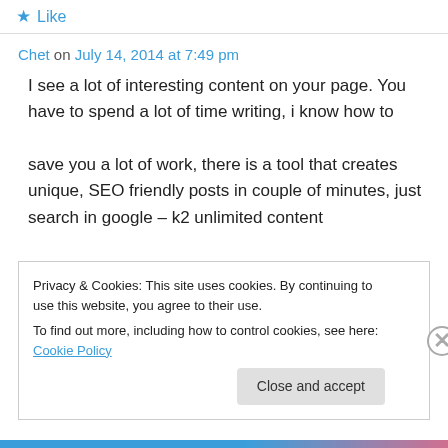Like
Chet on July 14, 2014 at 7:49 pm
I see a lot of interesting content on your page. You have to spend a lot of time writing, i know how to save you a lot of work, there is a tool that creates unique, SEO friendly posts in couple of minutes, just search in google – k2 unlimited content
Privacy & Cookies: This site uses cookies. By continuing to use this website, you agree to their use. To find out more, including how to control cookies, see here: Cookie Policy
Close and accept